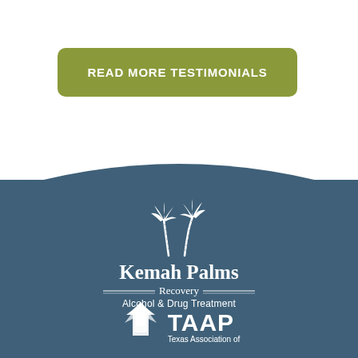READ MORE TESTIMONIALS
[Figure (logo): Kemah Palms Recovery - Alcohol & Drug Treatment logo with two palm trees above text]
[Figure (logo): TAAP - Texas Association of logo, partially visible at bottom]